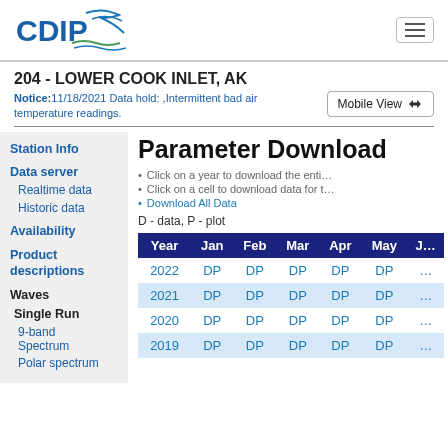CDIP
204 - LOWER COOK INLET, AK
Notice:11/18/2021 Data hold: ,Intermittent bad air temperature readings.
Mobile View
Station Info
Data server
Realtime data
Historic data
Availability
Product descriptions
Waves
Single Run
9-band Spectrum
Polar spectrum
Parameter Download
Click on a year to download the enti…
Click on a cell to download data for t…
Download All Data
D - data, P - plot
| Year | Jan | Feb | Mar | Apr | May | J… |
| --- | --- | --- | --- | --- | --- | --- |
| 2022 | DP | DP | DP | DP | DP | … |
| 2021 | DP | DP | DP | DP | DP | … |
| 2020 | DP | DP | DP | DP | DP | … |
| 2019 | DP | DP | DP | DP | DP | … |